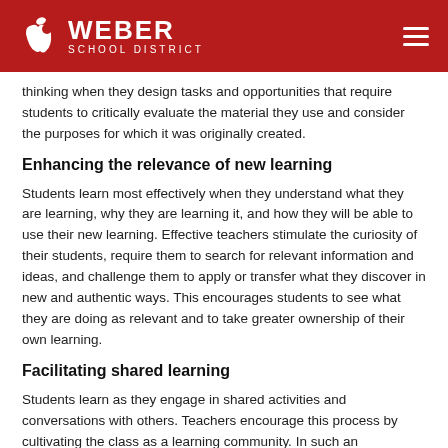Weber School District
thinking when they design tasks and opportunities that require students to critically evaluate the material they use and consider the purposes for which it was originally created.
Enhancing the relevance of new learning
Students learn most effectively when they understand what they are learning, why they are learning it, and how they will be able to use their new learning. Effective teachers stimulate the curiosity of their students, require them to search for relevant information and ideas, and challenge them to apply or transfer what they discover in new and authentic ways. This encourages students to see what they are doing as relevant and to take greater ownership of their own learning.
Facilitating shared learning
Students learn as they engage in shared activities and conversations with others. Teachers encourage this process by cultivating the class as a learning community. In such an environment, everyone, including the teacher, is a learner.  Learning conversations and learning partnerships are encouraged, while